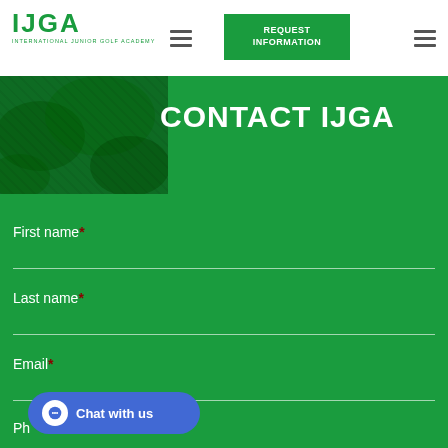[Figure (screenshot): IJGA website navigation bar with logo, hamburger menus, and REQUEST INFORMATION green button]
CONTACT IJGA
First name*
Last name*
Email*
Ph
[Figure (screenshot): Blue Chat with us button with speech bubble icon]